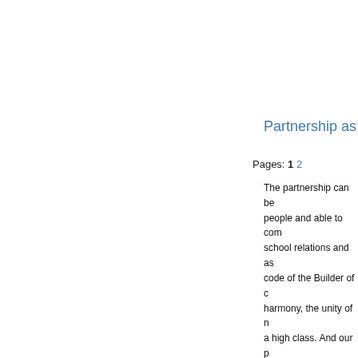Partnership as
Pages: 1 2
The partnership can be people and able to com school relations and as code of the Builder of c harmony, the unity of n a high class. And our p dignity, starting with the science and other subj respected, necessary, to relate to himself and Interviews with student have the right view ano education of Man, the e But the trouble, if the fa